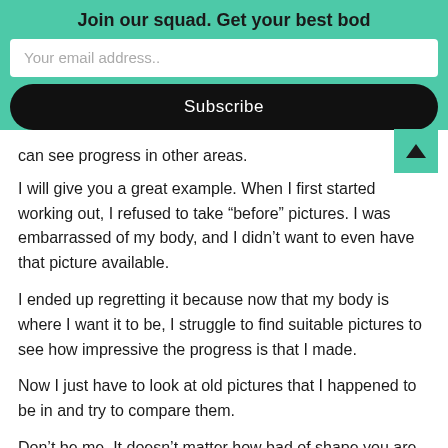Join our squad. Get your best bod
Your email address..
Subscribe
can see progress in other areas.
I will give you a great example. When I first started working out, I refused to take “before” pictures. I was embarrassed of my body, and I didn’t want to even have that picture available.
I ended up regretting it because now that my body is where I want it to be, I struggle to find suitable pictures to see how impressive the progress is that I made.
Now I just have to look at old pictures that I happened to be in and try to compare them.
Don’t be me. It doesn’t matter how bad of shape you are in now. You are going to need all of these tools at your